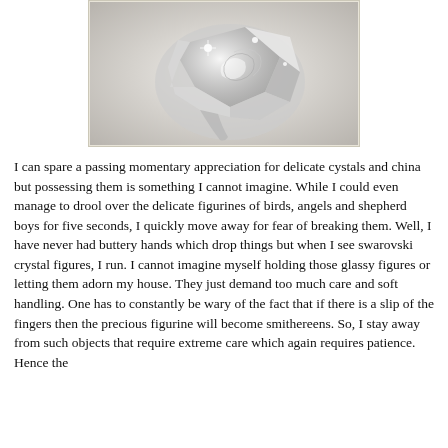[Figure (photo): A black and white photograph of a Swarovski crystal glass figurine, likely a heart or floral shape, with intricate reflective surfaces on a light background.]
I can spare a passing momentary appreciation for delicate cystals and china but possessing them is something I cannot imagine. While I could even manage to drool over the delicate figurines of birds, angels and shepherd boys for five seconds, I quickly move away for fear of breaking them. Well, I have never had buttery hands which drop things but when I see swarovski crystal figures, I run. I cannot imagine myself holding those glassy figures or letting them adorn my house. They just demand too much care and soft handling. One has to constantly be wary of the fact that if there is a slip of the fingers then the precious figurine will become smithereens. So, I stay away from such objects that require extreme care which again requires patience. Hence the preference for not fussing about objects. Weariness...